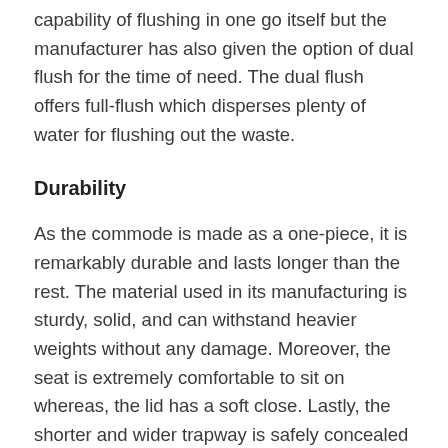capability of flushing in one go itself but the manufacturer has also given the option of dual flush for the time of need. The dual flush offers full-flush which disperses plenty of water for flushing out the waste.
Durability
As the commode is made as a one-piece, it is remarkably durable and lasts longer than the rest. The material used in its manufacturing is sturdy, solid, and can withstand heavier weights without any damage. Moreover, the seat is extremely comfortable to sit on whereas, the lid has a soft close. Lastly, the shorter and wider trapway is safely concealed in the structure